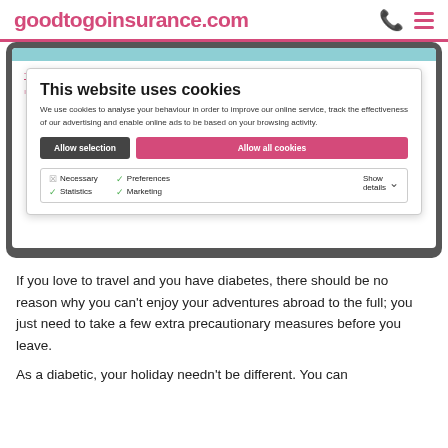goodtogoinsurance.com
[Figure (screenshot): Screenshot of a website cookie consent overlay on goodtogoinsurance.com. The overlay contains the title 'This website uses cookies', descriptive text about cookie usage, two buttons ('Allow selection' and 'Allow all cookies'), and checkbox options for Necessary, Preferences, Statistics, and Marketing cookies with a 'Show details' toggle. Behind the overlay is a breadcrumb navigation and a large pink/teal heading 'Travelling with Diabetes'.]
If you love to travel and you have diabetes, there should be no reason why you can't enjoy your adventures abroad to the full; you just need to take a few extra precautionary measures before you leave.
As a diabetic, your holiday needn't be different. You can